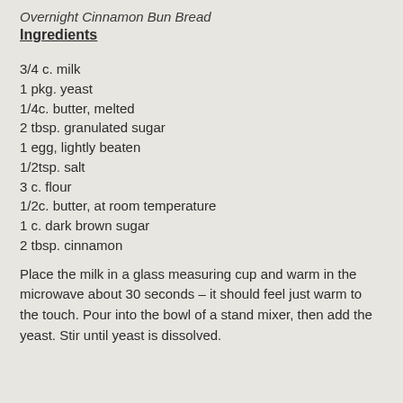Overnight Cinnamon Bun Bread
Ingredients
3/4 c. milk
1 pkg. yeast
1/4c. butter, melted
2 tbsp. granulated sugar
1 egg, lightly beaten
1/2tsp. salt
3 c. flour
1/2c. butter, at room temperature
1 c. dark brown sugar
2 tbsp. cinnamon
Place the milk in a glass measuring cup and warm in the microwave about 30 seconds – it should feel just warm to the touch. Pour into the bowl of a stand mixer, then add the yeast. Stir until yeast is dissolved.